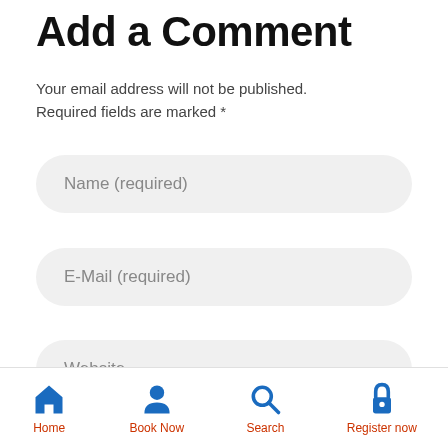Add a Comment
Your email address will not be published. Required fields are marked *
Name (required)
E-Mail (required)
Website
Home | Book Now | Search | Register now